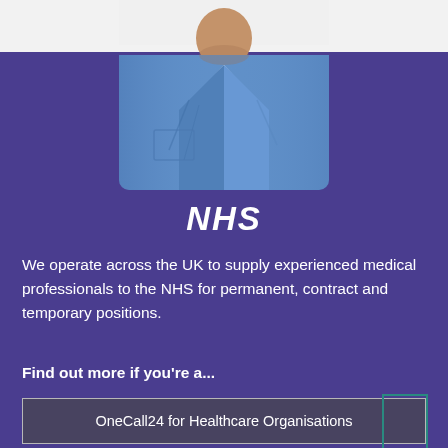[Figure (photo): Medical professional wearing blue scrubs, photo cropped at torso/neck level, shown on a purple background with white card behind]
NHS
We operate across the UK to supply experienced medical professionals to the NHS for permanent, contract and temporary positions.
Find out more if you're a...
OneCall24 for Healthcare Organisations